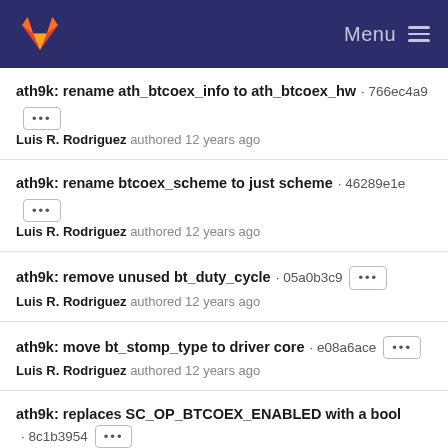GitLab — Menu
ath9k: rename ath_btcoex_info to ath_btcoex_hw · 766ec4a9
Luis R. Rodriguez authored 12 years ago
ath9k: rename btcoex_scheme to just scheme · 46289e1e
Luis R. Rodriguez authored 12 years ago
ath9k: remove unused bt_duty_cycle · 05a0b3c9
Luis R. Rodriguez authored 12 years ago
ath9k: move bt_stomp_type to driver core · e08a6ace
Luis R. Rodriguez authored 12 years ago
ath9k: replaces SC_OP_BTCOEX_ENABLED with a bool · 8c1b3954
Luis R. Rodriguez authored 12 years ago
ath9k: split ath9k_hw_btcoex_enable() into two helpers ·